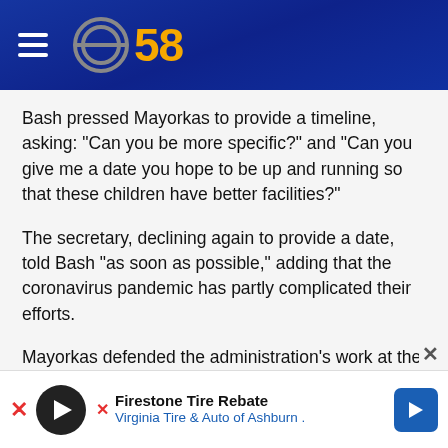CBS 58
Bash pressed Mayorkas to provide a timeline, asking: "Can you be more specific?" and "Can you give me a date you hope to be up and running so that these children have better facilities?"
The secretary, declining again to provide a date, told Bash "as soon as possible," adding that the coronavirus pandemic has partly complicated their efforts.
Mayorkas defended the administration's work at the southern border and placed blame on the Trump administration for dismantling the immigration
[Figure (logo): Firestone Tire Rebate advertisement — Firestone tire logo, text: Firestone Tire Rebate, Virginia Tire & Auto of Ashburn, with blue navigation arrow icon]